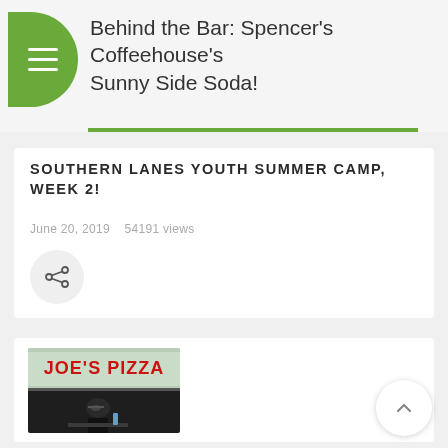Behind the Bar: Spencer's Coffeehouse's Sunny Side Soda!
SOUTHERN LANES YOUTH SUMMER CAMP, WEEK 2!
June 20, 2019   54191 views
[Figure (photo): Joe's Pizza restaurant sign in red lettering above a window, with a person seated inside at a table with a drink]
[Figure (other): Scroll to top arrow button]